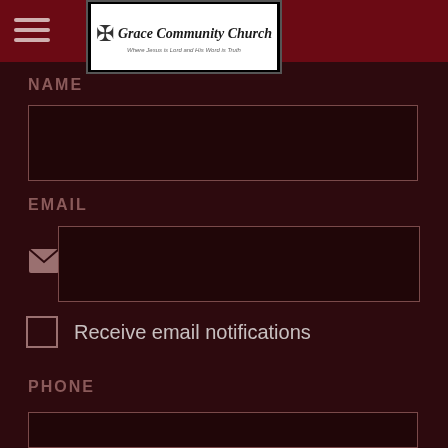Grace Community Church
NAME
(name input field)
EMAIL
(email input field)
Receive email notifications
PHONE
(phone input field)